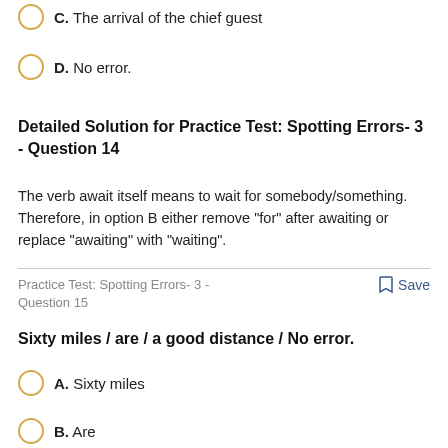C. The arrival of the chief guest
D. No error.
Detailed Solution for Practice Test: Spotting Errors- 3 - Question 14
The verb await itself means to wait for somebody/something. Therefore, in option B either remove "for" after awaiting or replace "awaiting" with "waiting".
Practice Test: Spotting Errors- 3 - Question 15
Save
Sixty miles / are / a good distance / No error.
A. Sixty miles
B. Are